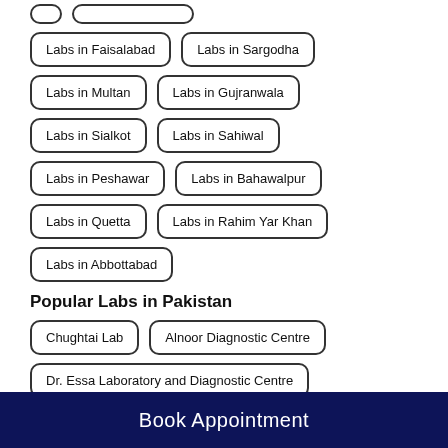Labs in Faisalabad
Labs in Sargodha
Labs in Multan
Labs in Gujranwala
Labs in Sialkot
Labs in Sahiwal
Labs in Peshawar
Labs in Bahawalpur
Labs in Quetta
Labs in Rahim Yar Khan
Labs in Abbottabad
Popular Labs in Pakistan
Chughtai Lab
Alnoor Diagnostic Centre
Dr. Essa Laboratory and Diagnostic Centre
Book Appointment